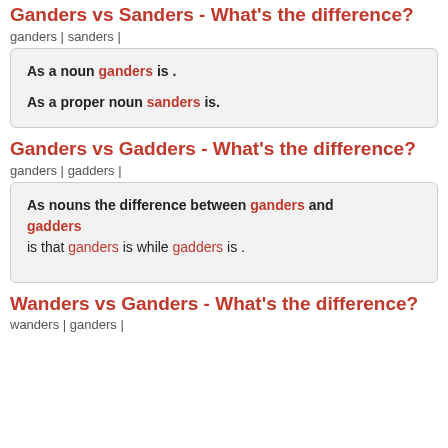Ganders vs Sanders - What's the difference?
ganders | sanders |
As a noun ganders is . As a proper noun sanders is.
Ganders vs Gadders - What's the difference?
ganders | gadders |
As nouns the difference between ganders and gadders is that ganders is while gadders is .
Wanders vs Ganders - What's the difference?
wanders | ganders |